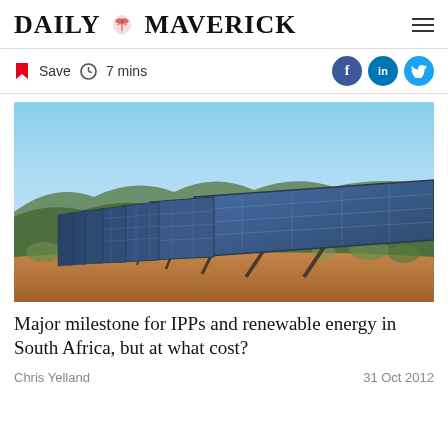DAILY MAVERICK
Save  7 mins
[Figure (photo): Solar panels arranged in a row on a hillside with scrub vegetation and mountains in the background under a clear blue sky, photographed in South Africa.]
Major milestone for IPPs and renewable energy in South Africa, but at what cost?
Chris Yelland
31 Oct 2012